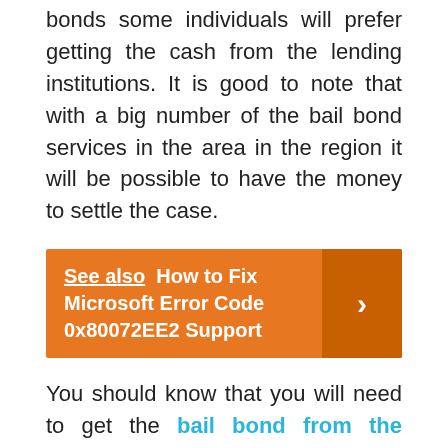bonds some individuals will prefer getting the cash from the lending institutions. It is good to note that with a big number of the bail bond services in the area in the region it will be possible to have the money to settle the case.
See also  How to Fix Microsoft Error Code 0x80072EE2 Support
You should know that you will need to get the bail bond from the company that offers the best services. Choosing the top services when it comes to your bail bond needs will not be an easy thing to do as they will be many and not all of them will have the right package for you.